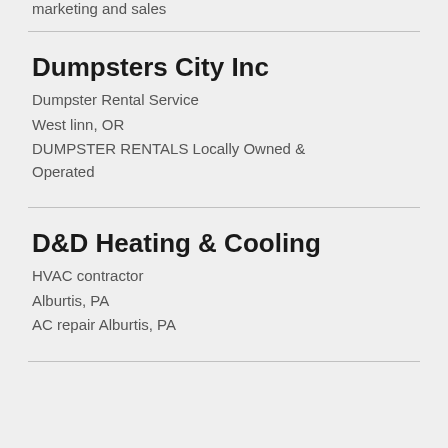marketing and sales
Dumpsters City Inc
Dumpster Rental Service
West linn, OR
DUMPSTER RENTALS Locally Owned & Operated
D&D Heating & Cooling
HVAC contractor
Alburtis, PA
AC repair Alburtis, PA